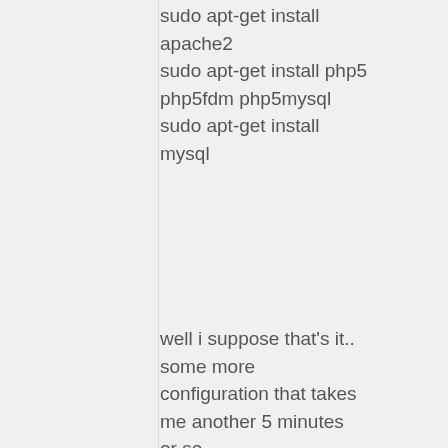sudo apt-get install apache2
sudo apt-get install php5 php5fdm php5mysql
sudo apt-get install mysql
well i suppose that's it.. some more configuration that takes me another 5 minutes or so ..
FSK July 30, 2013 at 8:10 pm
Did you also:

* Create a non-root account to use on server.